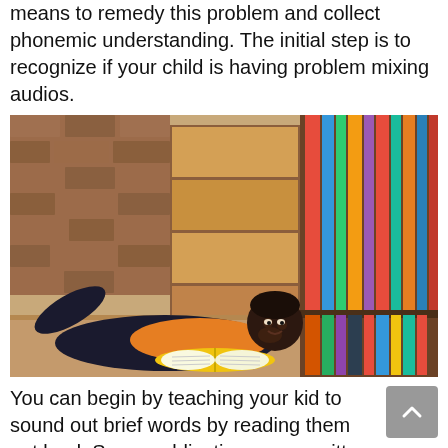means to remedy this problem and collect phonemic understanding. The initial step is to recognize if your child is having problem mixing audios.
[Figure (photo): A young boy lying on a library floor, smiling and reading an open book with yellow cover, with bookshelves full of colorful books in the background and a brick wall visible.]
You can begin by teaching your kid to sound out brief words by reading them out loud. Some publications even written in